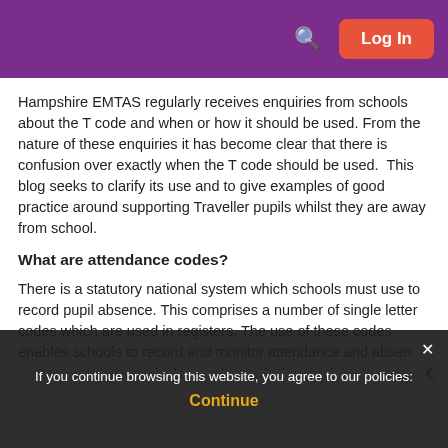Log In
Hampshire EMTAS regularly receives enquiries from schools about the T code and when or how it should be used. From the nature of these enquiries it has become clear that there is confusion over exactly when the T code should be used.  This blog seeks to clarify its use and to give examples of good practice around supporting Traveller pupils whilst they are away from school.
What are attendance codes?
There is a statutory national system which schools must use to record pupil absence. This comprises a number of single letter codes which are used in registers. The use of these codes enables schools to record and monitor attendance and absence in a consistent way which complies with the regulations.  Hampshire schools must follow the regulations and therefore when pupils are absent to use.  It is important that this information is factually correct as unauthorised absences can result in a penalty notice being issued.
If you continue browsing this website, you agree to our policies:
Continue